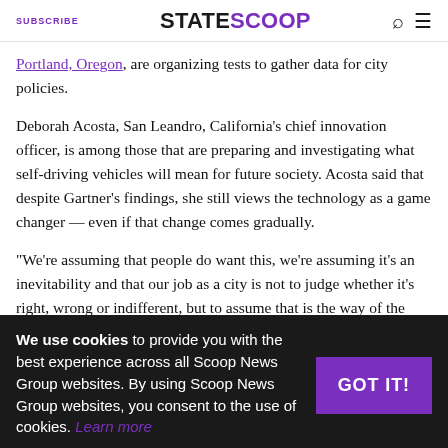SUBSCRIBE | STATESCOOP
Portland, Oregon, are organizing tests to gather data for city policies.
Deborah Acosta, San Leandro, California's chief innovation officer, is among those that are preparing and investigating what self-driving vehicles will mean for future society. Acosta said that despite Gartner's findings, she still views the technology as a game changer — even if that change comes gradually.
“We're assuming that people do want this, we're assuming it's an inevitability and that our job as a city is not to judge whether it's right, wrong or indifferent, but to assume that is the way of the future and we have to prepare our city for it,” Acosta said.
We use cookies to provide you with the best experience across all Scoop News Group websites. By using Scoop News Group websites, you consent to the use of cookies. Learn more
...dset means taking outreach and ...nd tec...now considering...us bus that would operate local breweries and pubs, and Acosta said she hopes to soon